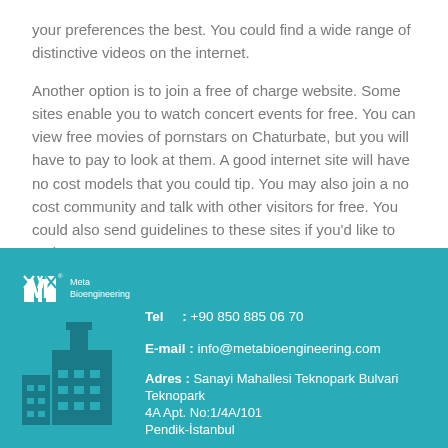your preferences the best. You could find a wide range of distinctive videos on the internet.
Another option is to join a free of charge website. Some sites enable you to watch concert events for free. You can view free movies of pornstars on Chaturbate, but you will have to pay to look at them. A good internet site will have no cost models that you could tip. You may also join a no cost community and talk with other visitors for free. You could also send guidelines to these sites if you'd like to make money.
[Figure (logo): Meta Bioengineering logo with M icon and company name]
[Figure (illustration): Factory/building silhouette icon in dark teal]
Tel : +90 850 885 06 70
E-mail : info@metabioengineering.com
Adres : Sanayi Mahallesi Teknopark Bulvari Teknopark 4A Apt. No:1/4A/101 Pendik-İstanbul